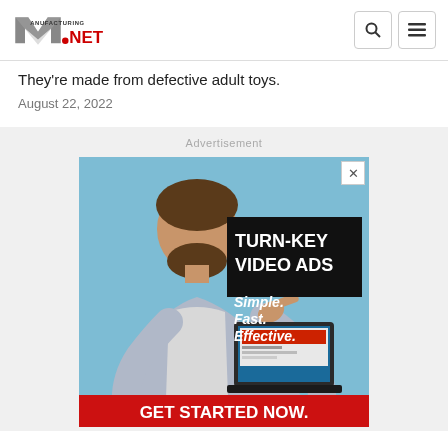Manufacturing.net
They're made from defective adult toys.
August 22, 2022
[Figure (photo): Advertisement banner showing a bearded man pointing at a laptop with text 'TURN-KEY VIDEO ADS - Simple. Fast. Effective.' and 'GET STARTED NOW.' at the bottom on a red background.]